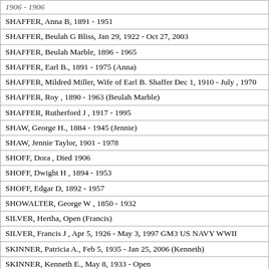| 1906 - 1906 |
| SHAFFER,  Anna B, 1891 - 1951 |
| SHAFFER,  Beulah G Bliss, Jan 29, 1922 - Oct 27, 2003 |
| SHAFFER,  Beulah  Marble, 1896 - 1965 |
| SHAFFER,  Earl B., 1891 - 1975 (Anna) |
| SHAFFER,  Mildred  Miller, Wife of Earl B. Shaffer Dec 1, 1910 - July , 1970 |
| SHAFFER,  Roy  , 1890 - 1963 (Beulah Marble) |
| SHAFFER,  Rutherford J , 1917 - 1995 |
| SHAW,  George H., 1884 - 1945 (Jennie) |
| SHAW,  Jennie  Taylor, 1901 - 1978 |
| SHOFF,  Dora  , Died 1906 |
| SHOFF,  Dwight H , 1894 - 1953 |
| SHOFF,  Edgar D, 1892 - 1957 |
| SHOWALTER,  George W , 1850 - 1932 |
| SILVER,  Hertha, Open (Francis) |
| SILVER,  Francis J , Apr 5, 1926 - May 3, 1997 GM3 US NAVY WWII |
| SKINNER,  Patricia A., Feb 5, 1935 - Jan 25, 2006 (Kenneth) |
| SKINNER,  Kenneth E., May 8, 1933 - Open |
| SLOAN,  Nancy Woods, Mar 18, 1954 - June 3, 1997 |
| SLOCUM,  Almeron, 1853 - 1929 |
| SLOCUM,  Nancy A Woods, Died 1997 |